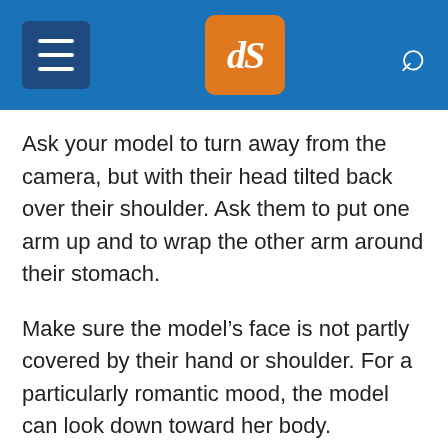dPS navigation header with hamburger menu, logo, and search icon
Ask your model to turn away from the camera, but with their head tilted back over their shoulder. Ask them to put one arm up and to wrap the other arm around their stomach.
Make sure the model’s face is not partly covered by their hand or shoulder. For a particularly romantic mood, the model can look down toward her body.
Also, her raised elbow should be pointing away